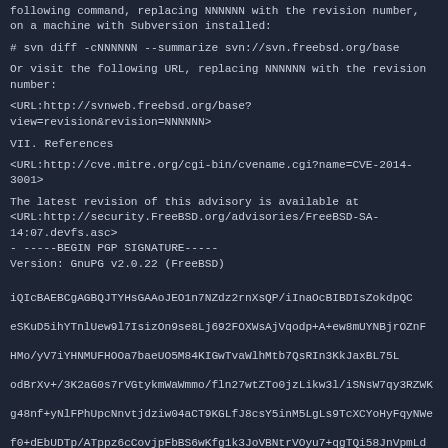following command, replacing NNNNNN with the revision number, on a machine with Subversion installed:
# svn diff -cNNNNNN --summarize svn://svn.freebsd.org/base
Or visit the following URL, replacing NNNNNN with the revision number:
<URL:http://svnweb.freebsd.org/base?view=revision&revision=NNNNNN>
VII. References
<URL:http://cve.mitre.org/cgi-bin/cvename.cgi?name=CVE-2014-3001>
The latest revision of this advisory is available at
<URL:http://security.FreeBSD.org/advisories/FreeBSD-SA-14:07.devfs.asc>
- -----BEGIN PGP SIGNATURE-----
Version: GnuPG v2.0.22 (FreeBSD)
iQIcBAEBCgAGBQJTYHsGAAoJEO1n7NZdz2rnXsQP/iInaOcBIBDIsZokdpQCeSKuD5ihYTnlUew9l7IsizOn9se8Lj692FOXWsAjVqodp+A+ew8mUYNBjrOZnFHMo/yV7iYHNMUFHOOa7baeUO5M84KIGwTvaWlhMtb7QsRIn3KkJaxBL75LodBrXv+/3K2aG0s7rVGtykmWaWmmo/fln27wtZTo0jzLikw3l/iSNsW7qy3RZWKg48nf+yNlFPhUpcNnvtjdziw04aCT9KGLfJ8csY5inM5LgLs9TcXCYoHyFqyNWef0+dEbUDTp/ATppz6cCovjpFbBS6wKfg1k3JoVBNtrVOyu7+qgTQi58JnVpmLds7mslWf/LIliA9Jz0RKEdFbRBw1UVc45Zxse8gzVRnCxlwywFEuXDPQ0a3UxnTe0/QQ/rodS/WpELhhu3DGq3aONbznuP/NzQRSQpe1Oqr56+ATiiUo7ITXjm7IiqJ9I0BfeyrP/ml3cs2D8V6hOHqrIgdOSgoUwjpNcZCkO2yo/vl0Sk/NEhMhfHYCWn3Dc/dQYwgFjqL1UW4WGKe/j/SW/JFLyb0+r/mIDq8Z2en1kBSHWBtvRu2hmMZ2UpwxBXF71zesIajuGIZ/tfIsHmGLjj6BsRQcdbinEodwIJnlDb5y/KmsBV0wYyigteth/aK/m3ikDCGs
=qxER
- -----END PGP SIGNATURE-----